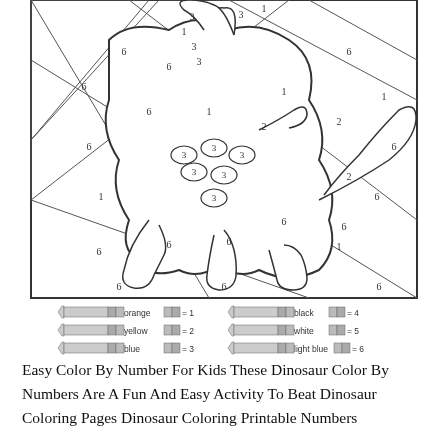[Figure (illustration): Color by number dinosaur coloring page. The dinosaur outline is divided into numbered sections (1–6). Numbers visible include 1, 2, 3, 6 scattered throughout the regions. There are small oval spots on the dinosaur body, each containing the number 3.]
orange = 1   black = 4
yellow = 2   white = 5
blue = 3   light blue = 6
Easy Color By Number For Kids These Dinosaur Color By Numbers Are A Fun And Easy Activity To Beat Dinosaur Coloring Pages Dinosaur Coloring Printable Numbers